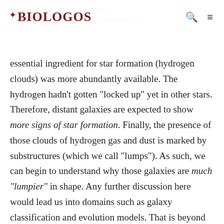BioLogos
essential ingredient for star formation (hydrogen clouds) was more abundantly available. The hydrogen hadn’t gotten “locked up” yet in other stars. Therefore, distant galaxies are expected to show more signs of star formation. Finally, the presence of those clouds of hydrogen gas and dust is marked by substructures (which we call “lumps”). As such, we can begin to understand why those galaxies are much “lumpier” in shape. Any further discussion here would lead us into domains such as galaxy classification and evolution models. That is beyond our scope. Below you can find a simplified summary of the comparison between distant and nearby galaxies.